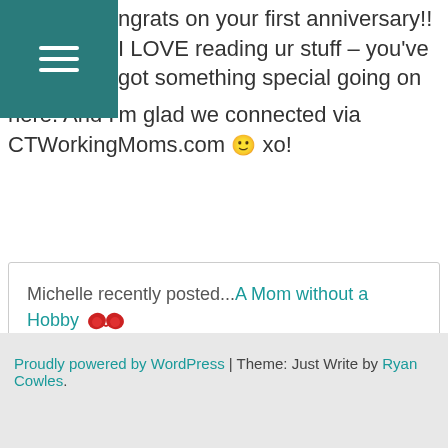ngrats on your first anniversary!! I LOVE reading ur stuff – you've got something special going on here. And I'm glad we connected via CTWorkingMoms.com 🙂 xo!
Michelle recently posted...A Mom without a Hobby 🦅
Comments are closed.
Proudly powered by WordPress | Theme: Just Write by Ryan Cowles.